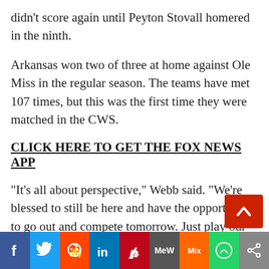didn’t score again until Peyton Stovall homered in the ninth.
Arkansas won two of three at home against Ole Miss in the regular season. The teams have met 107 times, but this was the first time they were matched in the CWS.
CLICK HERE TO GET THE FOX NEWS APP
“It’s all about perspective,” Webb said. “We’re blessed to still be here and have the opportunity to go out and compete tomorrow. Just play our brand of baseball, have some fun. Tomorrow’s a new day.”
[Figure (other): Social media sharing bar with icons for Facebook, Twitter, Reddit, LinkedIn, Pinterest, MeWe, Mix, WhatsApp, and Share]